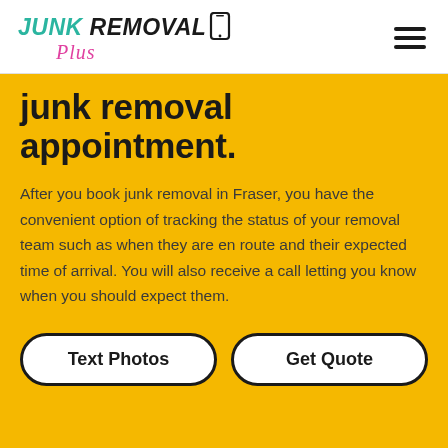[Figure (logo): Junk Removal Plus logo with teal italic 'JUNK', bold black 'REMOVAL', phone icon, and pink cursive 'Plus']
junk removal appointment.
After you book junk removal in Fraser, you have the convenient option of tracking the status of your removal team such as when they are en route and their expected time of arrival. You will also receive a call letting you know when you should expect them.
Text Photos
Get Quote